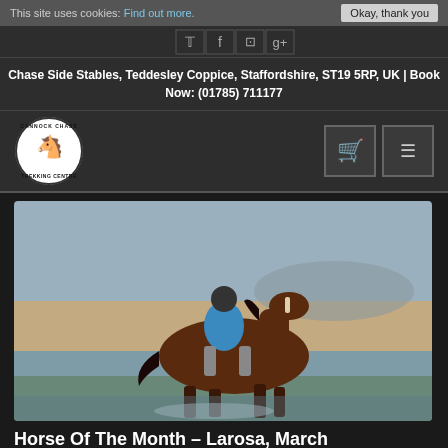This site uses cookies: Find out more. Okay, thank you
[Figure (screenshot): Social media icons: Twitter, Facebook, Instagram, Google+, Email]
Chase Side Stables, Teddesley Coppice, Staffordshire, ST19 5RP, UK | Book Now: (01785) 711177
[Figure (logo): Cannock Chase Trekking Centre circular logo with horse silhouette]
[Figure (photo): A woman in a blue top and riding helmet sitting on a brown horse walking through shallow water on a beach]
Horse Of The Month – Larosa, March